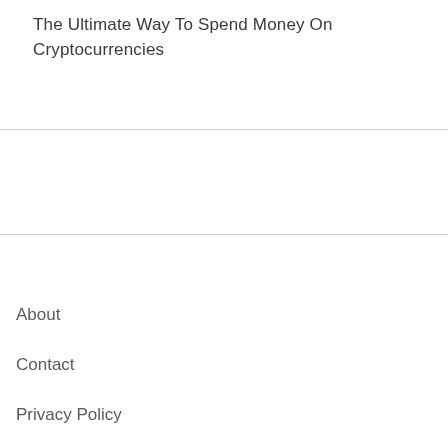The Ultimate Way To Spend Money On Cryptocurrencies
About
Contact
Privacy Policy